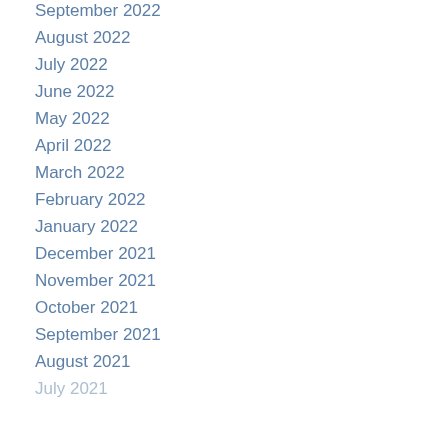September 2022
August 2022
July 2022
June 2022
May 2022
April 2022
March 2022
February 2022
January 2022
December 2021
November 2021
October 2021
September 2021
August 2021
July 2021